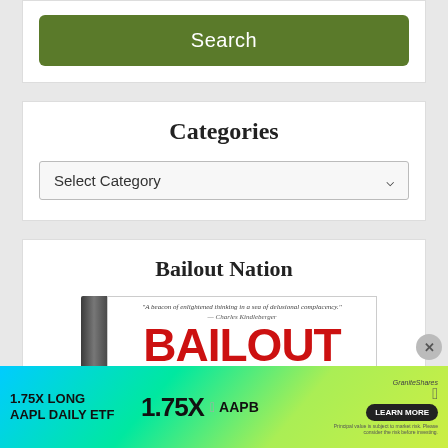[Figure (screenshot): Green Search button on white background]
Categories
Select Category
Bailout Nation
[Figure (photo): Book cover of Bailout Nation with red text on white background, showing spine and cover with tagline 'A beacon of enlightened thinking in a sea of delusional complacency']
[Figure (infographic): Advertisement banner: 1.75X LONG AAPL DAILY ETF, 1.75X, AAPB, GraniteShares logo, Apple logo, LEARN MORE button]